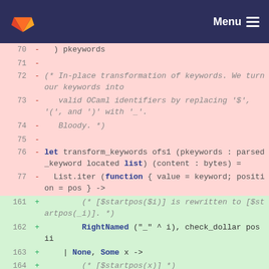GitLab  Menu
70  -  ) pkeywords
71  -
72  -  (* In-place transformation of keywords. We turn our keywords into
73  -     valid OCaml identifiers by replacing '$', '(', and ')' with '_'.
74  -     Bloody. *)
75  -
76  -  let transform_keywords ofs1 (pkeywords : parsed_keyword located list) (content : bytes) =
77  -     List.iter (function { value = keyword; position = pos } ->
161 +     (* [$startpos($i)] is rewritten to [$startpos(_i)]. *)
162 +        RightNamed ("_" ^ i), check_dollar pos ii
163 +  | None, Some x ->
164 +     (* [$startpos(x)] *)